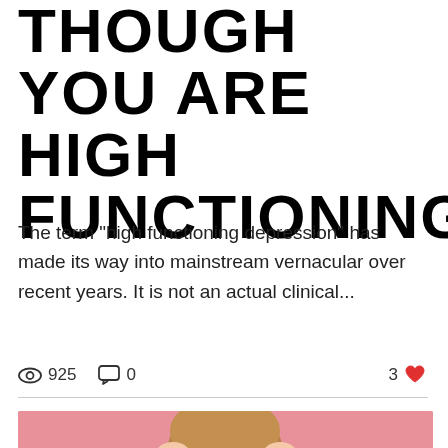THOUGH YOU ARE HIGH FUNCTIONING
The term "high functioning depression" has made its way into mainstream vernacular over recent years. It is not an actual clinical...
925 views  0 comments  3 likes
[Figure (photo): Woman with glasses and long hair grimacing/screaming, hands on head, against a pink background. Blue circular more button overlay in bottom right.]